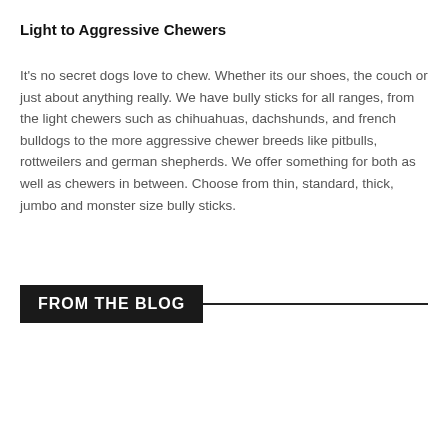Light to Aggressive Chewers
It's no secret dogs love to chew. Whether its our shoes, the couch or just about anything really. We have bully sticks for all ranges, from the light chewers such as chihuahuas, dachshunds, and french bulldogs to the more aggressive chewer breeds like pitbulls, rottweilers and german shepherds. We offer something for both as well as chewers in between. Choose from thin, standard, thick, jumbo and monster size bully sticks.
FROM THE BLOG